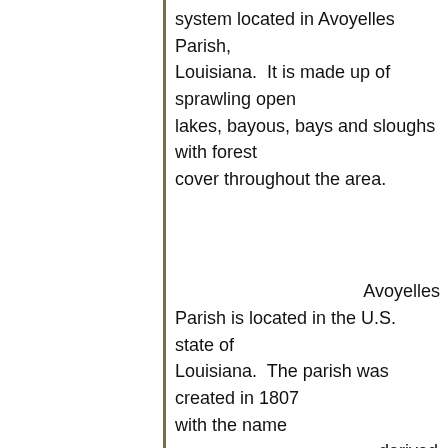system located in Avoyelles Parish, Louisiana.  It is made up of sprawling open lakes, bayous, bays and sloughs with forest cover throughout the area.
Avoyelles Parish is located in the U.S. state of Louisiana.  The parish was created in 1807 with the name derived from the French name for the historic "Avoyel" people, one of the local Indian tribes at the time of European encounter.
Avoyelles Parish is known for its French-speaking history, with Creole traditions in both music and food, which
reflects European, African and Native